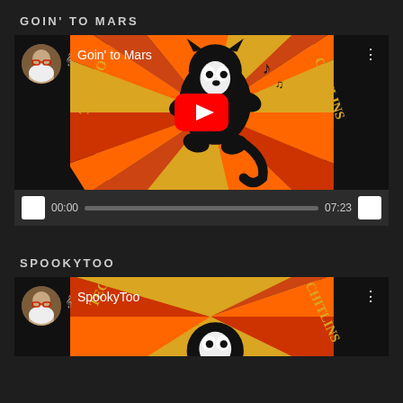GOIN' TO MARS
[Figure (screenshot): YouTube video embed thumbnail for 'Goin' to Mars' showing Felix the Cat character dancing on a colorful radial background with 'TECHNOCHITLINS' text, with a YouTube play button overlay and video controls showing 00:00 / 07:23]
SPOOKYTOO
[Figure (screenshot): YouTube video embed thumbnail for 'SpookyToo' showing similar Felix the Cat themed artwork with 'TECHNOCHITLINS' branding]